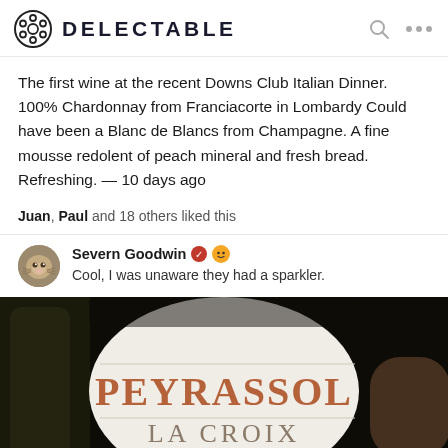DELECTABLE
The first wine at the recent Downs Club Italian Dinner. 100% Chardonnay from Franciacorte in Lombardy Could have been a Blanc de Blancs from Champagne. A fine mousse redolent of peach mineral and fresh bread. Refreshing. — 10 days ago
Juan, Paul and 18 others liked this
Severn Goodwin
Cool, I was unaware they had a sparkler.
[Figure (photo): Close-up photo of a wine bottle label reading PEYRASSOL LA CROIX]